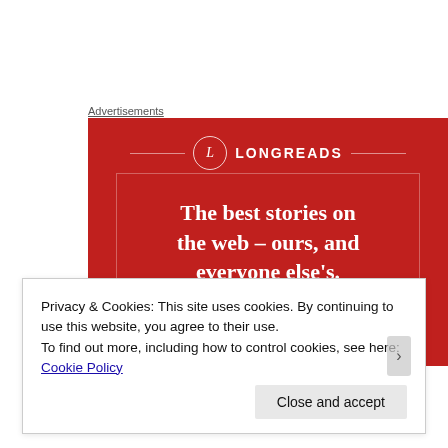Advertisements
[Figure (illustration): Longreads advertisement banner on red background. Shows the Longreads logo (circle with L) and brand name, with tagline: 'The best stories on the web – ours, and everyone else's.' and a 'Start reading' button at the bottom.]
Privacy & Cookies: This site uses cookies. By continuing to use this website, you agree to their use.
To find out more, including how to control cookies, see here: Cookie Policy